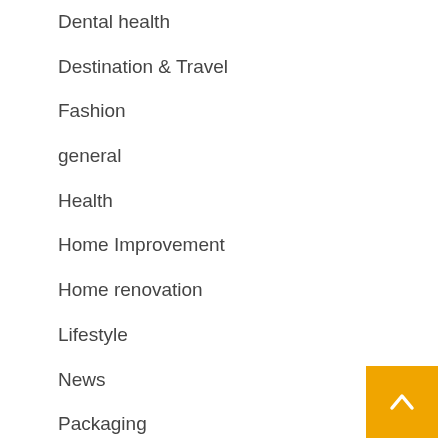Dental health
Destination & Travel
Fashion
general
Health
Home Improvement
Home renovation
Lifestyle
News
Packaging
Parenting Single Mother
Politics
SEO marketing
SEO Servi…